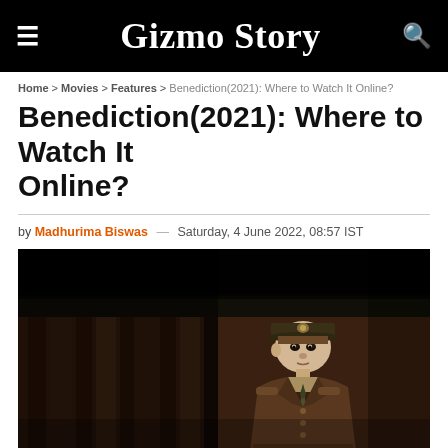Gizmo Story
Home > Movies > Features > Benediction(2021): Where to Watch It Online?
Benediction(2021): Where to Watch It Online?
by Madhurima Biswas — Saturday, 4 June 2022, 08:57 IST
[Figure (photo): A young man in a World War I British army uniform with brown coat and military cap, standing in front of a dark wooden train or building background. Still from the film Benediction (2021).]